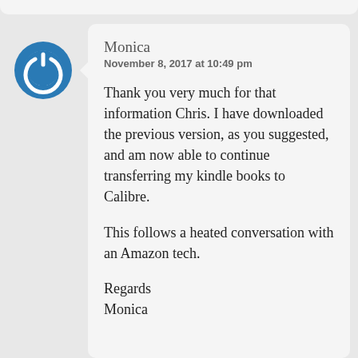[Figure (illustration): Blue circular power/user avatar icon with a circular arrow symbol inside]
Monica
November 8, 2017 at 10:49 pm

Thank you very much for that information Chris. I have downloaded the previous version, as you suggested, and am now able to continue transferring my kindle books to Calibre.

This follows a heated conversation with an Amazon tech.

Regards
Monica